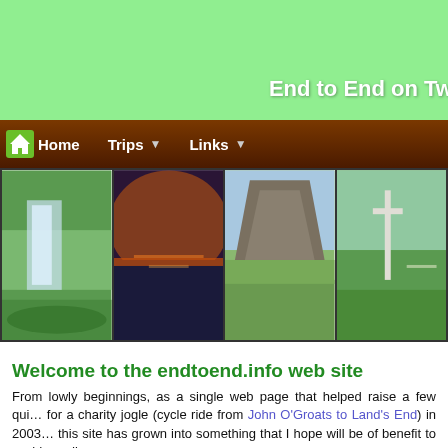End to End on Tw
[Figure (screenshot): Navigation bar with home icon, Trips, and Links menu items on dark brown background]
[Figure (photo): Four landscape photos in a horizontal strip: waterfall, sunset over water, rocky hill/mountain, monument/cross in green field]
Welcome to the endtoend.info web site
From lowly beginnings, as a single web page that helped raise a few qui… for a charity jogle (cycle ride from John O'Groats to Land's End) in 2003, this site has grown into something that I hope will be of benefit to a wide audience.
Enquire within upon everything
Well, everything of a cycle touring nature that happens to relate to the places I have visited on the map opposite!